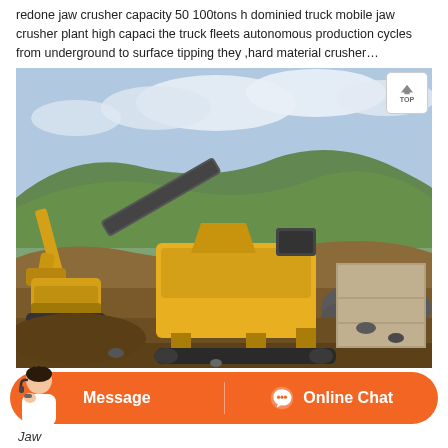redone jaw crusher capacity 50 100tons h dominied truck mobile jaw crusher plant high capaci the truck fleets autonomous production cycles from underground to surface tipping they ,hard material crusher…
[Figure (photo): A large yellow mobile jaw crusher machine operating at an open-pit mining or quarrying site. An excavator is visible to the left. The background shows hilly terrain with sparse vegetation under a partly cloudy sky. Crushed rock and dirt surround the equipment.]
Jaw